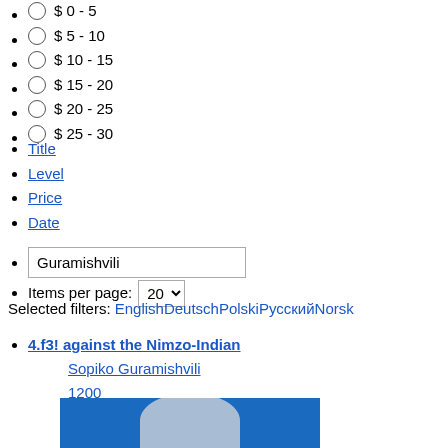$ 0 - 5
$ 5 - 10
$ 10 - 15
$ 15 - 20
$ 20 - 25
$ 25 - 30
Title
Level
Price
Date
Guramishvili (text input)
Items per page: 20
Selected filters: EnglishDeutschPolskiРусскийNorsk
4.f3! against the Nimzo-Indian
Sopiko Guramishvili
1200
1600
2200+